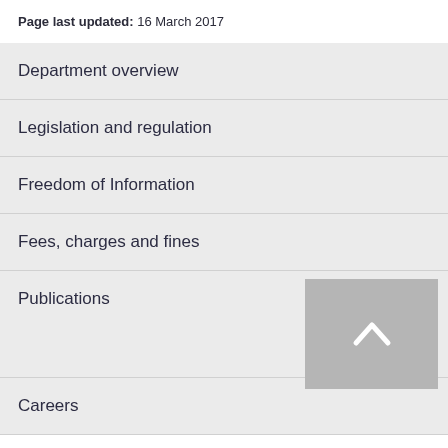Page last updated: 16 March 2017
Department overview
Legislation and regulation
Freedom of Information
Fees, charges and fines
Publications
Careers